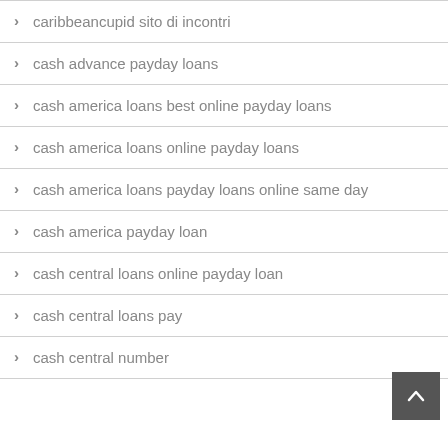caribbeancupid sito di incontri
cash advance payday loans
cash america loans best online payday loans
cash america loans online payday loans
cash america loans payday loans online same day
cash america payday loan
cash central loans online payday loan
cash central loans pay
cash central number